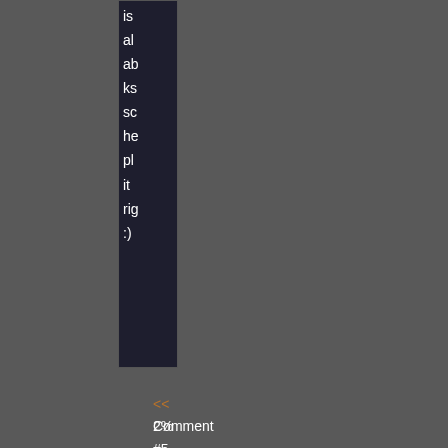is al ab ks sc he pl it rig :)
<< Comment #5 @ 03:05 CDT, 31 May 2016 >>
[Figure (screenshot): Clipped code/text block showing orange and blue colored text fragments with a vertical scrollbar, ending with '2%' percentage indicator]